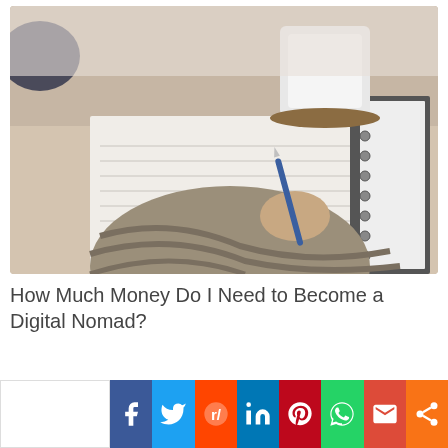[Figure (photo): A person wearing a chunky knit sweater writing with a pen on paper, with a notebook and a white mug on a wooden table in the background.]
How Much Money Do I Need to Become a Digital Nomad?
[Figure (infographic): Social share bar with buttons for Facebook, Twitter, Reddit, LinkedIn, Pinterest, WhatsApp, Gmail, and a generic share icon.]